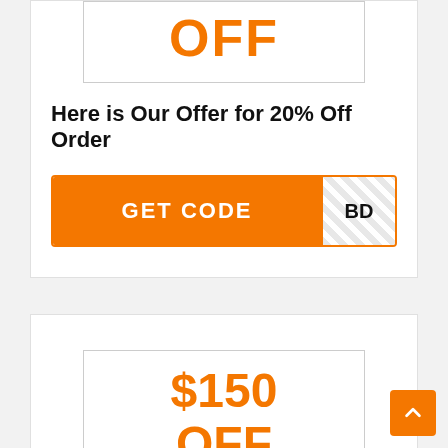[Figure (other): Orange OFF text inside a bordered box, partially visible at top]
Here is Our Offer for 20% Off Order
[Figure (other): Orange GET CODE button with striped code reveal area showing 'BD']
[Figure (other): $150 OFF text inside a bordered box at the bottom of the page]
[Figure (other): Orange scroll-to-top button with upward arrow in bottom right]